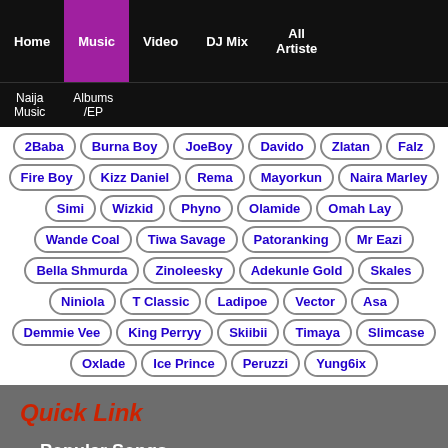Home | Music | Video | DJ Mix | All Artiste
Naija Music | Albums /EP
2Baba, Burna Boy, JoeBoy, Davido, Zlatan, Falz, Fire Boy, Kizz Daniel, Rema, Mayorkun, Naira Marley, Simi, Wizkid, Phyno, Olamide, Omah Lay, Wande Coal, Tiwa Savage, Patoranking, Mr Eazi, Bella Shmurda, Zinoleesky, Adekunle Gold, Skales, Niniola, T Classic, Ladipoe, Vector, Asa, Demmie Vee, King Perryy, Skiibii, Timaya, Slimcase, Oxlade, Ice Prince, Peruzzi, Yung6ix
Quick Link
Popular Songs